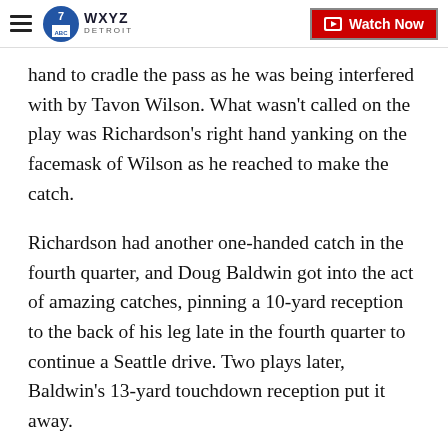WXYZ Detroit — Watch Now
hand to cradle the pass as he was being interfered with by Tavon Wilson. What wasn't called on the play was Richardson's right hand yanking on the facemask of Wilson as he reached to make the catch.
Richardson had another one-handed catch in the fourth quarter, and Doug Baldwin got into the act of amazing catches, pinning a 10-yard reception to the back of his leg late in the fourth quarter to continue a Seattle drive. Two plays later, Baldwin's 13-yard touchdown reception put it away.
Baldwin ran the wrong route and the pass was actually intended for teammate Jermaine Kearse.